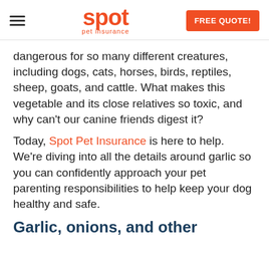Spot Pet Insurance | FREE QUOTE!
dangerous for so many different creatures, including dogs, cats, horses, birds, reptiles, sheep, goats, and cattle. What makes this vegetable and its close relatives so toxic, and why can't our canine friends digest it?
Today, Spot Pet Insurance is here to help. We're diving into all the details around garlic so you can confidently approach your pet parenting responsibilities to help keep your dog healthy and safe.
Garlic, onions, and other